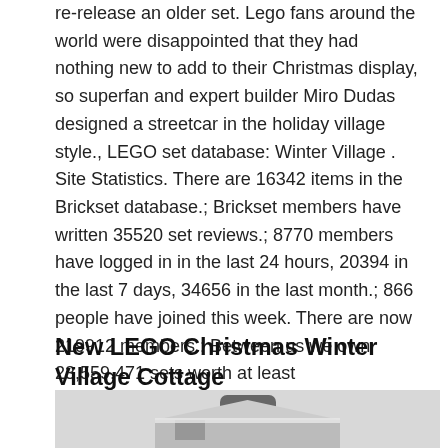re-release an older set. Lego fans around the world were disappointed that they had nothing new to add to their Christmas display, so superfan and expert builder Miro Dudas designed a streetcar in the holiday village style., LEGO set database: Winter Village . Site Statistics. There are 16342 items in the Brickset database.; Brickset members have written 35520 set reviews.; 8770 members have logged in in the last 24 hours, 20394 in the last 7 days, 34656 in the last month.; 866 people have joined this week. There are now 219912 members.; Between us we own 23,559,471 sets worth at least US$681,412,874 and.
New LEGO Christmas Winter Village Cottage
[Figure (photo): A LEGO Christmas Winter Village Cottage build shown in a video thumbnail with a gray background. A play button icon is visible at the top center. The LEGO model appears to be a snow-covered cottage.]